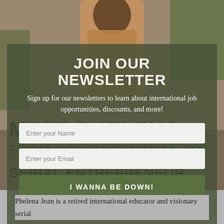[Figure (photo): Background photo of a person wearing a tan/brown outfit, with green foliage behind them.]
JOIN OUR NEWSLETTER
Sign up for our newsletters to learn about international job opportunities, discounts, and more!
MEET PHELENA
FROM SOUTH CENTRAL TO SERIAL ENTREPRENEUR
Phelena Jean is a retired international educator and visionary serial